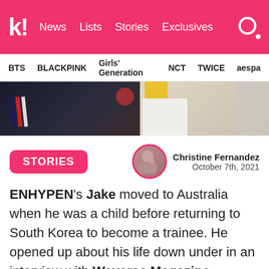k! News Lists Stories Exclusives
BTS BLACKPINK Girls' Generation NCT TWICE aespa
[Figure (photo): Photo of people in dark and light clothing, partially cropped at top of article]
STORIES
Christine Fernandez
October 7th, 2021
ENHYPEN's Jake moved to Australia when he was a child before returning to South Korea to become a trainee. He opened up about his life down under in an interview with Weverse Magazine.
[Figure (photo): Bottom portion of article image showing a person's hair/head, warm brown tones]